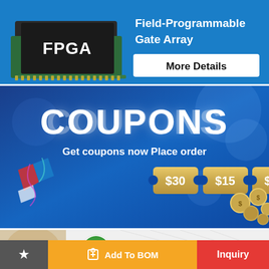[Figure (infographic): FPGA advertisement banner: green/black FPGA chip image on blue background with text 'Field-Programmable Gate Array' and 'More Details' button]
[Figure (infographic): Coupons promotional banner on dark blue background showing 'COUPONS', 'Get coupons now Place order', and three golden ticket icons: $30, $15, $10]
[Figure (infographic): Electronica trade show banner with green circular logo and 'electronica' text in black with red 'e']
Add To BOM
Inquiry